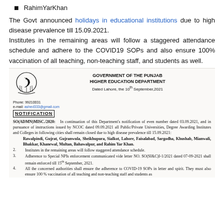RahimYarKhan
The Govt announced holidays in educational institutions due to high disease prevalence till 15.09.2021.
Institutes in the remaining areas will follow a staggered attendance schedule and adhere to the COVID19 SOPs and also ensure 100% vaccination of all teaching, non-teaching staff, and students as well.
[Figure (photo): Scanned government notification from Government of the Punjab Higher Education Department dated Lahore, 10th September 2021. Contains a NOTIFICATION heading, reference SO(ADMN)MISC./2020:, listing cities where universities/colleges shall remain closed due to high disease prevalence till 15.09.2021, and numbered points about staggered attendance, NPIs enforcement, and COVID-19 SOPs compliance.]